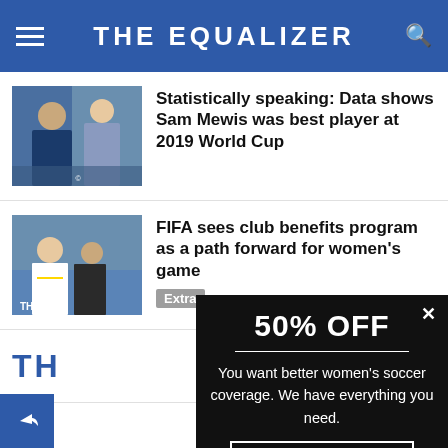THE EQUALIZER
[Figure (photo): Athletes at soccer event, women's team celebration]
Statistically speaking: Data shows Sam Mewis was best player at 2019 World Cup
[Figure (photo): Soccer player receiving award from FIFA official]
FIFA sees club benefits program as a path forward for women's game
Extra
50% OFF
You want better women's soccer coverage. We have everything you need.
GET HALF OFF